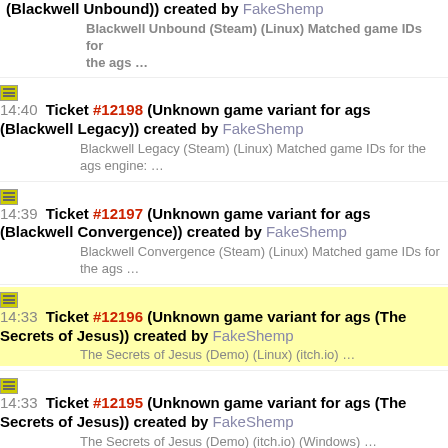(Blackwell Unbound)) created by FakeShemp
Blackwell Unbound (Steam) (Linux) Matched game IDs for the ags …
14:40 Ticket #12198 (Unknown game variant for ags (Blackwell Legacy)) created by FakeShemp
Blackwell Legacy (Steam) (Linux) Matched game IDs for the ags engine: …
14:39 Ticket #12197 (Unknown game variant for ags (Blackwell Convergence)) created by FakeShemp
Blackwell Convergence (Steam) (Linux) Matched game IDs for the ags …
14:33 Ticket #12196 (Unknown game variant for ags (The Secrets of Jesus)) created by FakeShemp
The Secrets of Jesus (Demo) (Linux) (itch.io) …
14:33 Ticket #12195 (Unknown game variant for ags (The Secrets of Jesus)) created by FakeShemp
The Secrets of Jesus (Demo) (itch.io) (Windows) …
14:31 Ticket #12194 (Unknown game variant for ags (Red Bow)) created by FakeShemp